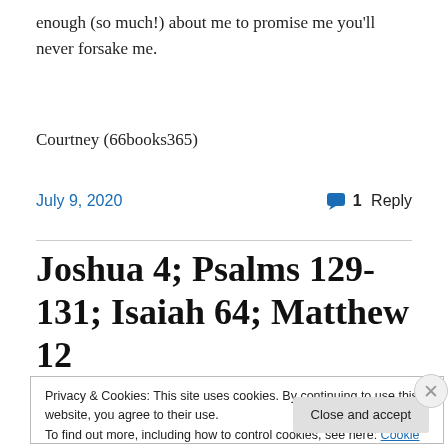enough (so much!) about me to promise me you'll never forsake me.
Courtney (66books365)
July 9, 2020    1 Reply
Joshua 4; Psalms 129-131; Isaiah 64; Matthew 12
Privacy & Cookies: This site uses cookies. By continuing to use this website, you agree to their use. To find out more, including how to control cookies, see here: Cookie Policy   Close and accept